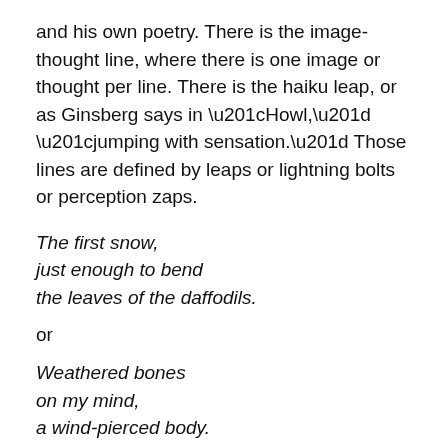and his own poetry. There is the image-thought line, where there is one image or thought per line. There is the haiku leap, or as Ginsberg says in “Howl,” “jumping with sensation.” Those lines are defined by leaps or lightning bolts or perception zaps.
The first snow,
just enough to bend
the leaves of the daffodils.
or
Weathered bones
on my mind,
a wind-pierced body.
or